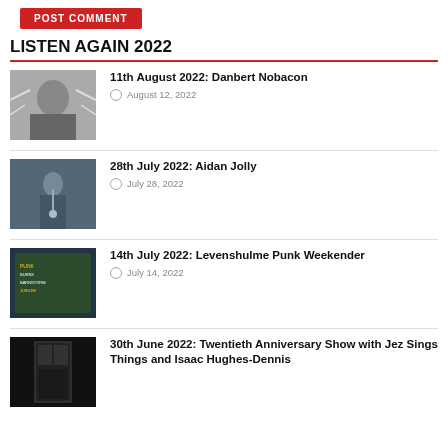[Figure (other): POST COMMENT button in red]
LISTEN AGAIN 2022
11th August 2022: Danbert Nobacon
August 12, 2022
28th July 2022: Aidan Jolly
July 28, 2022
14th July 2022: Levenshulme Punk Weekender
July 14, 2022
30th June 2022: Twentieth Anniversary Show with Jez Sings Things and Isaac Hughes-Dennis